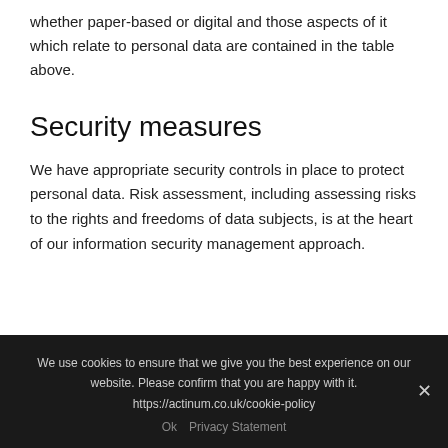whether paper-based or digital and those aspects of it which relate to personal data are contained in the table above.
Security measures
We have appropriate security controls in place to protect personal data. Risk assessment, including assessing risks to the rights and freedoms of data subjects, is at the heart of our information security management approach.
We use cookies to ensure that we give you the best experience on our website. Please confirm that you are happy with it. https://actinum.co.uk/cookie-policy
Ok   Privacy Statement